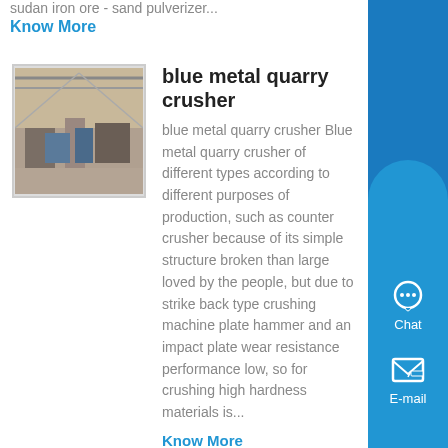sudan iron ore - sand pulverizer...
Know More
blue metal quarry crusher
[Figure (photo): Interior of industrial crusher facility with machinery and equipment]
blue metal quarry crusher Blue metal quarry crusher of different types according to different purposes of production, such as counter crusher because of its simple structure broken than large loved by the people, but due to strike back type crushing machine plate hammer and an impact plate wear resistance performance low, so for crushing high hardness materials is...
Know More
Crusher Blue Metal And Crusher Quarry For Sale From ,
[Figure (photo): Industrial crusher truck or vehicle in a facility with green floor]